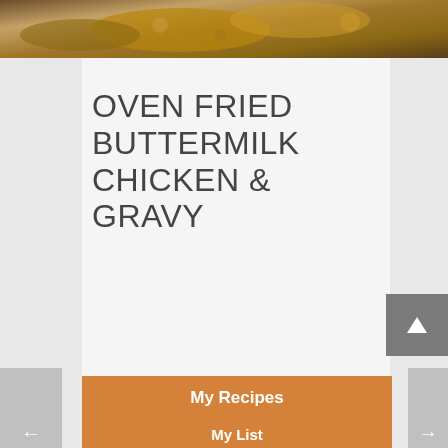[Figure (photo): Food photo strip at top showing oven fried chicken with golden brown coating]
OVEN FRIED BUTTERMILK CHICKEN & GRAVY
[Figure (other): Save Recipe button with green background and plus icon]
[Figure (other): Print Recipe button with white background]
My Recipes
My List